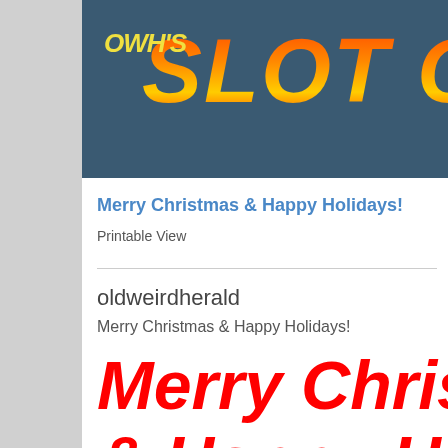[Figure (logo): OWH's Slot Car Talk website banner with large italic bold text in red-orange-yellow gradient on dark blue-grey background]
Merry Christmas & Happy Holidays!
Printable View
oldweirdherald
Merry Christmas & Happy Holidays!
Merry Christmas & Happy Holidays!